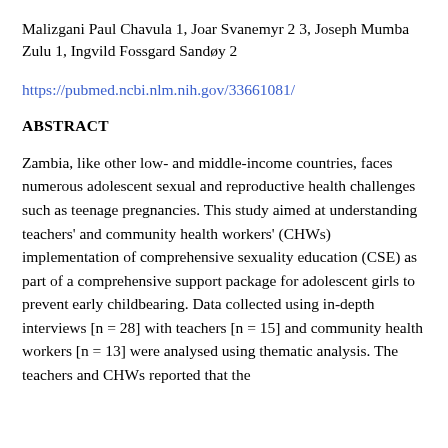Malizgani Paul Chavula 1, Joar Svanemyr 2 3, Joseph Mumba Zulu 1, Ingvild Fossgard Sandøy 2
https://pubmed.ncbi.nlm.nih.gov/33661081/
ABSTRACT
Zambia, like other low- and middle-income countries, faces numerous adolescent sexual and reproductive health challenges such as teenage pregnancies. This study aimed at understanding teachers' and community health workers' (CHWs) implementation of comprehensive sexuality education (CSE) as part of a comprehensive support package for adolescent girls to prevent early childbearing. Data collected using in-depth interviews [n = 28] with teachers [n = 15] and community health workers [n = 13] were analysed using thematic analysis. The teachers and CHWs reported that the